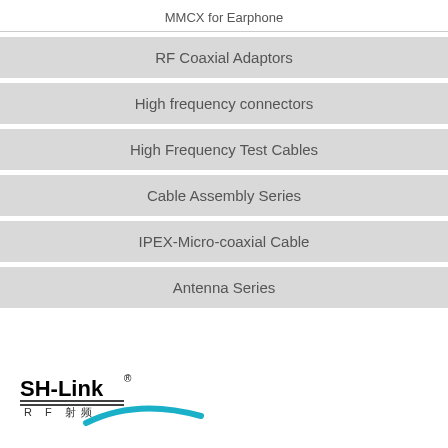MMCX for Earphone
RF Coaxial Adaptors
High frequency connectors
High Frequency Test Cables
Cable Assembly Series
IPEX-Micro-coaxial Cable
Antenna Series
[Figure (logo): SH-Link RF logo with Chinese characters and teal swoosh]